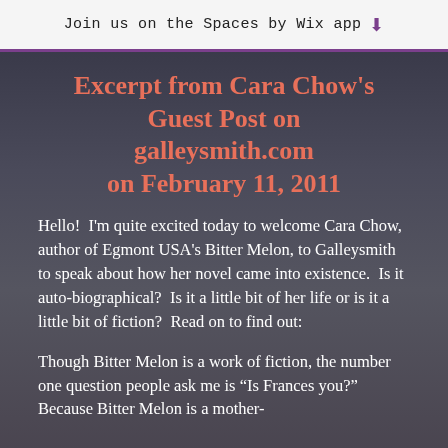Join us on the Spaces by Wix app
Excerpt from Cara Chow's Guest Post on galleysmith.com on February 11, 2011
Hello!  I'm quite excited today to welcome Cara Chow, author of Egmont USA's Bitter Melon, to Galleysmith to speak about how her novel came into existence.  Is it auto-biographical?  Is it a little bit of her life or is it a little bit of fiction?  Read on to find out:
Though Bitter Melon is a work of fiction, the number one question people ask me is “Is Frances you?” Because Bitter Melon is a mother-